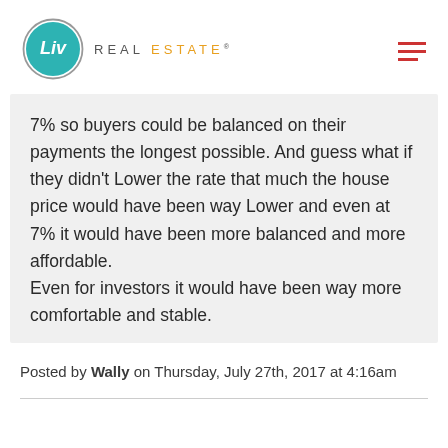[Figure (logo): Liv Real Estate logo — circular teal logo with white 'Liv' text, beside 'REAL ESTATE' text in grey and orange]
7% so buyers could be balanced on their payments the longest possible. And guess what if they didn't Lower the rate that much the house price would have been way Lower and even at 7% it would have been more balanced and more affordable. Even for investors it would have been way more comfortable and stable.
Posted by Wally on Thursday, July 27th, 2017 at 4:16am